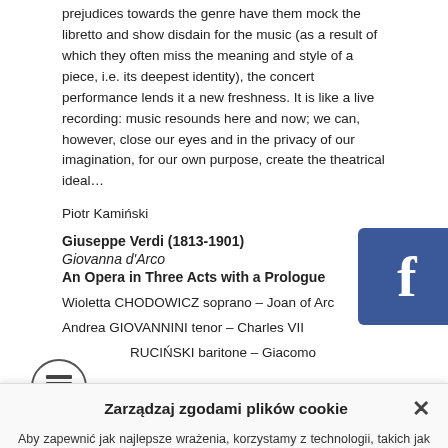prejudices towards the genre have them mock the libretto and show disdain for the music (as a result of which they often miss the meaning and style of a piece, i.e. its deepest identity), the concert performance lends it a new freshness. It is like a live recording: music resounds here and now; we can, however, close our eyes and in the privacy of our imagination, for our own purpose, create the theatrical ideal...
Piotr Kamiński
Giuseppe Verdi (1813-1901)
Giovanna d'Arco
An Opera in Three Acts with a Prologue
Wioletta CHODOWICZ soprano – Joan of Arc
Andrea GIOVANNINI tenor – Charles VII
…RUCIŃSKI baritone – Giacomo
[Figure (logo): Facebook logo button — blue square with white 'f']
[Figure (logo): ETR circular logo with grid icon and ETR text]
Zarządzaj zgodami plików cookie
Aby zapewnić jak najlepsze wrażenia, korzystamy z technologii, takich jak pliki cookie, do przechowywania i/lub uzyskiwania dostępu do informacji o urządzeniu. Zgoda na te technologie pozwoli nam przetwarzać dane, takie jak zachowanie podczas przeglądania lub unikalne identyfikatory na tej stronie. Brak wyrażenia zgody lub wycofanie zgody może niekorzystnie wpłynąć na